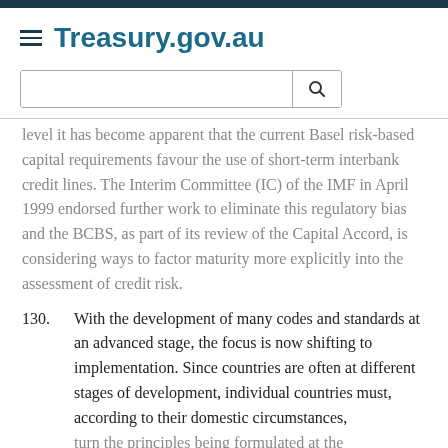Treasury.gov.au
level it has become apparent that the current Basel risk-based capital requirements favour the use of short-term interbank credit lines. The Interim Committee (IC) of the IMF in April 1999 endorsed further work to eliminate this regulatory bias and the BCBS, as part of its review of the Capital Accord, is considering ways to factor maturity more explicitly into the assessment of credit risk.
130. With the development of many codes and standards at an advanced stage, the focus is now shifting to implementation. Since countries are often at different stages of development, individual countries must, according to their domestic circumstances, turn the principles being formulated at the